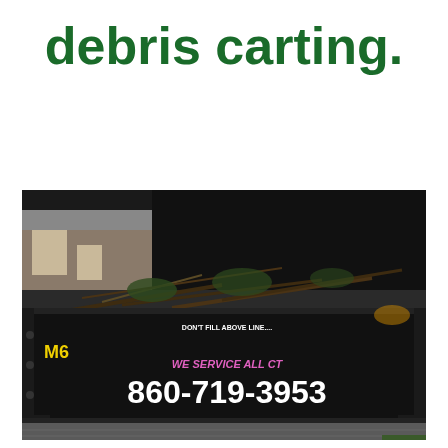debris carting.
[Figure (photo): A large black roll-off dumpster/debris container labeled 'M6' in yellow on the side, filled with yard debris and branches. The dumpster has text 'DON'T FILL ABOVE LINE...' near the top and 'WE SERVICE ALL CT' in pink lettering with the phone number '860-719-3953' in large white text on the side. The dumpster is parked on a sidewalk at night.]